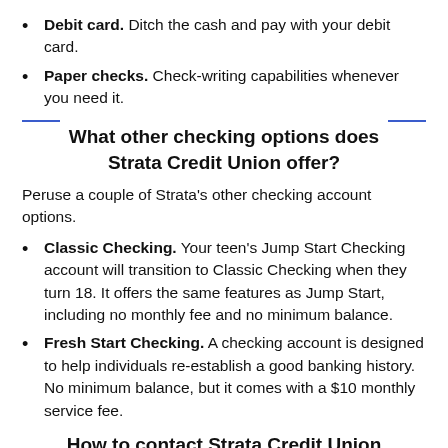Debit card. Ditch the cash and pay with your debit card.
Paper checks. Check-writing capabilities whenever you need it.
What other checking options does Strata Credit Union offer?
Peruse a couple of Strata's other checking account options.
Classic Checking. Your teen's Jump Start Checking account will transition to Classic Checking when they turn 18. It offers the same features as Jump Start, including no monthly fee and no minimum balance.
Fresh Start Checking. A checking account is designed to help individuals re-establish a good banking history. No minimum balance, but it comes with a $10 monthly service fee.
How to contact Strata Credit Union